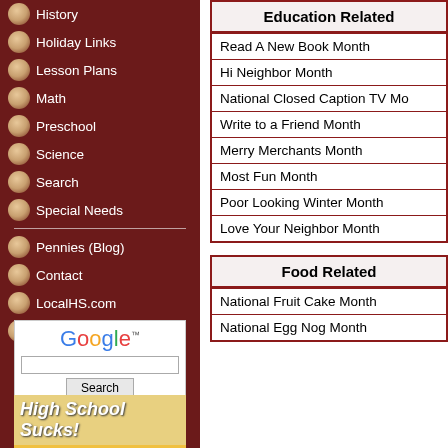History
Holiday Links
Lesson Plans
Math
Preschool
Science
Search
Special Needs
Pennies (Blog)
Contact
LocalHS.com
Homeschool Hosting
[Figure (other): Google search box with text input and Search button]
[Figure (photo): High School Sucks advertisement banner]
Education Related
Read A New Book Month
Hi Neighbor Month
National Closed Caption TV Mo...
Write to a Friend Month
Merry Merchants Month
Most Fun Month
Poor Looking Winter Month
Love Your Neighbor Month
Food Related
National Fruit Cake Month
National Egg Nog Month